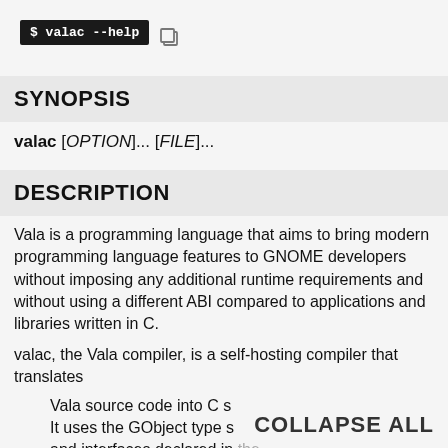[Figure (screenshot): Terminal command block showing '$ valac --help' in black background with white text, followed by a copy icon]
SYNOPSIS
valac [OPTION]... [FILE]...
DESCRIPTION
Vala is a programming language that aims to bring modern programming language features to GNOME developers without imposing any additional runtime requirements and without using a different ABI compared to applications and libraries written in C.
valac, the Vala compiler, is a self-hosting compiler that translates
Vala source code into C s
It uses the GObject type s
and interfaces declared in the vala source code.
COLLAPSE ALL